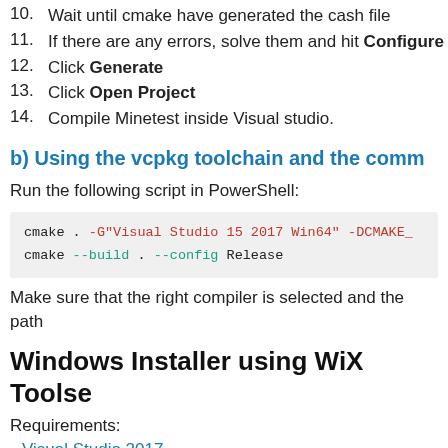10. Wait until cmake have generated the cash file
11. If there are any errors, solve them and hit Configure
12. Click Generate
13. Click Open Project
14. Compile Minetest inside Visual studio.
b) Using the vcpkg toolchain and the comm
Run the following script in PowerShell:
cmake . -G"Visual Studio 15 2017 Win64" -DCMAKE_
cmake --build . --config Release
Make sure that the right compiler is selected and the path
Windows Installer using WiX Toolse
Requirements:
Visual Studio 2017